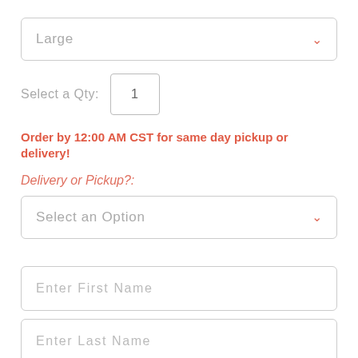[Figure (screenshot): Dropdown select box showing 'Large' with a downward chevron arrow on the right]
Select a Qty:  1
Order by 12:00 AM CST for same day pickup or delivery!
Delivery or Pickup?:
[Figure (screenshot): Dropdown select box showing 'Select an Option' with a downward chevron arrow on the right]
Enter First Name
Enter Last Name
Enter full name. We'll ask for delivery information at